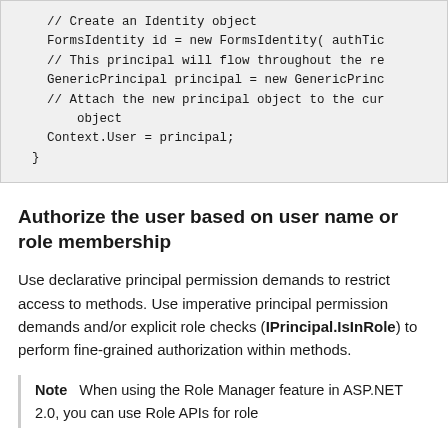[Figure (screenshot): Code block showing C# code: creating a FormsIdentity object, a GenericPrincipal, attaching it to Context.User, and closing brace.]
Authorize the user based on user name or role membership
Use declarative principal permission demands to restrict access to methods. Use imperative principal permission demands and/or explicit role checks (IPrincipal.IsInRole) to perform fine-grained authorization within methods.
Note   When using the Role Manager feature in ASP.NET 2.0, you can use Role APIs for role